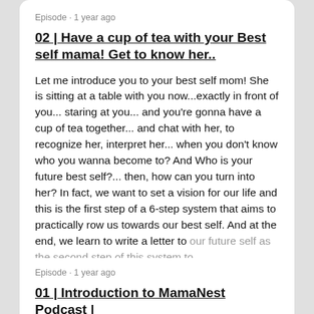Episode · 1 year ago
02 | Have a cup of tea with your Best self mama! Get to know her..
Let me introduce you to your best self mom! She is sitting at a table with you now...exactly in front of you... staring at you... and you're gonna have a cup of tea together... and chat with her, to recognize her, interpret her... when you don't know who you wanna become to? And Who is your future best self?... then, how can you turn into her? In fact, we want to set a vision for our life and this is the first step of a 6-step system that aims to practically row us towards our best self. And at the end, we learn to write a letter to our future self as the second step of this system to
LISTEN NOW
Episode · 1 year ago
01 | Introduction to MamaNest Podcast |